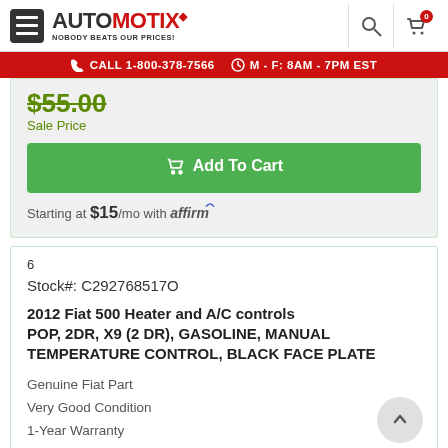AUTOmotix — NOBODY BEATS OUR PRICES!
CALL 1-800-378-7566   M - F: 8AM - 7PM EST
$55.00 Sale Price
Add To Cart
Starting at $15/mo with affirm
6
Stock#: C292768517O
2012 Fiat 500 Heater and A/C controls POP, 2DR, X9 (2 DR), GASOLINE, MANUAL TEMPERATURE CONTROL, BLACK FACE PLATE
Genuine Fiat Part
Very Good Condition
1-Year Warranty